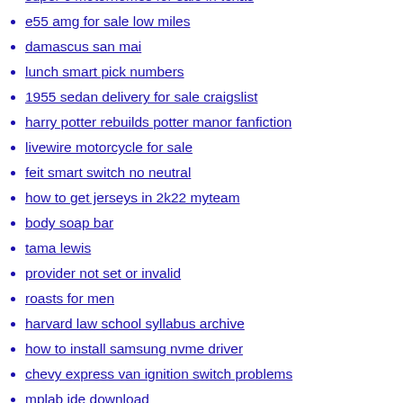super c motorhomes for sale in texas
e55 amg for sale low miles
damascus san mai
lunch smart pick numbers
1955 sedan delivery for sale craigslist
harry potter rebuilds potter manor fanfiction
livewire motorcycle for sale
feit smart switch no neutral
how to get jerseys in 2k22 myteam
body soap bar
tama lewis
provider not set or invalid
roasts for men
harvard law school syllabus archive
how to install samsung nvme driver
chevy express van ignition switch problems
mplab ide download
cbre cap rate survey 2022
amazon controls engineer reddit
oklahoma black rodeo 2022 schedule
ring of protection from evil
libman mop bucket
s20 fe 5g astrophotography
moneylion routing number not working
free asian sex celebrities video download
chrome inspect element install